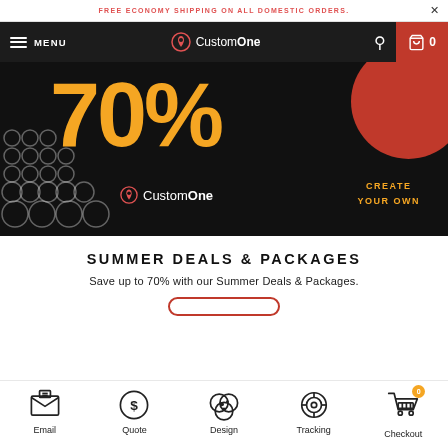FREE ECONOMY SHIPPING ON ALL DOMESTIC ORDERS.
[Figure (screenshot): CustomOne website navigation bar with hamburger menu, MENU text, CustomOne logo, search icon, and cart icon on dark background]
[Figure (screenshot): Hero banner showing 70% discount in orange text on dark background with red circle, CustomOne logo, circular pattern, and CREATE YOUR OWN orange text]
SUMMER DEALS & PACKAGES
Save up to 70% with our Summer Deals & Packages.
[Figure (other): Partial view of a red outlined rounded rectangle button]
Email  Quote  Design  Tracking  Checkout